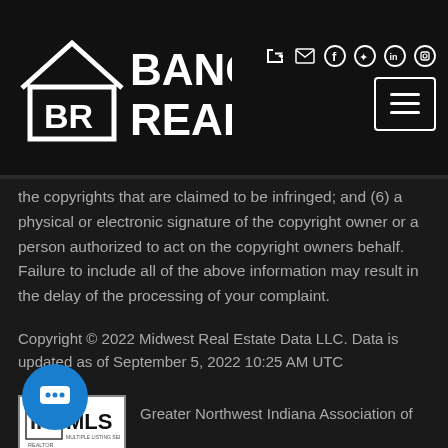[Figure (logo): Banga Realty logo with house icon and BR letters on black background, with social media icons and hamburger menu button]
the copyrights that are claimed to be infringed; and (6) a physical or electronic signature of the copyright owner or a person authorized to act on the copyright owners behalf. Failure to include all of the above information may result in the delay of the processing of your complaint.
Copyright © 2022 Midwest Real Estate Data LLC. Data is updated as of September 5, 2022 10:25 AM UTC
[Figure (logo): Realtor MLS logo box with IR Realtor symbol and Multiple Listing Service MLS text]
Greater Northwest Indiana Association of
All information deemed reliable but not guaranteed. All properties are subject to prior sale, change or withdrawal.